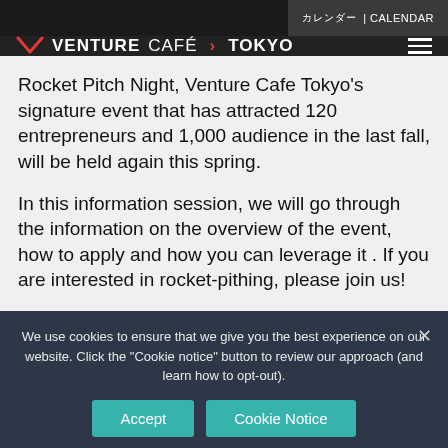カレンダー | CALENDAR
[Figure (logo): Venture Café Tokyo logo with chevron icon and hamburger menu]
Rocket Pitch Night, Venture Cafe Tokyo's signature event that has attracted 120 entrepreneurs and 1,000 audience in the last fall, will be held again this spring.
In this information session, we will go through the information on the overview of the event, how to apply and how you can leverage it . If you are interested in rocket-pithing, please join us!
We use cookies to ensure that we give you the best experience on our website. Click the "Cookie notice" button to review our approach (and learn how to opt-out).